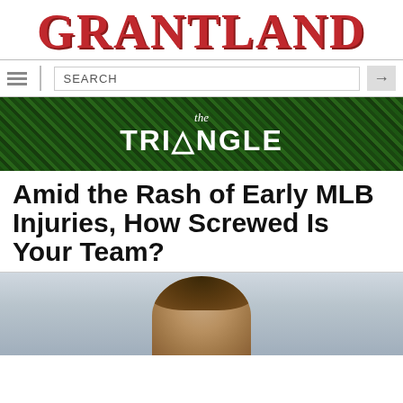GRANTLAND
SEARCH
[Figure (photo): The Triangle banner image — white script 'the' above bold uppercase 'TRIANGLE' text on a green grass background]
Amid the Rash of Early MLB Injuries, How Screwed Is Your Team?
[Figure (photo): Partial photo showing the top of a person's head with dark hair, light background]